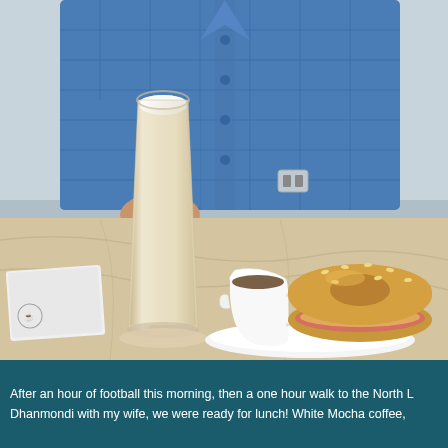[Figure (photo): A person in a blue plaid shirt sitting at a marble-top cafe table, holding a tall glass of white mocha coffee (latte). On the table there is also a sesame bagel sandwich with ham, a small white creamer/pitcher with espresso, and a white napkin.]
After an hour of football this morning, then a one hour walk to the North ... Dhanmondi with my wife, we were ready for lunch! White Mocha coffee, ...